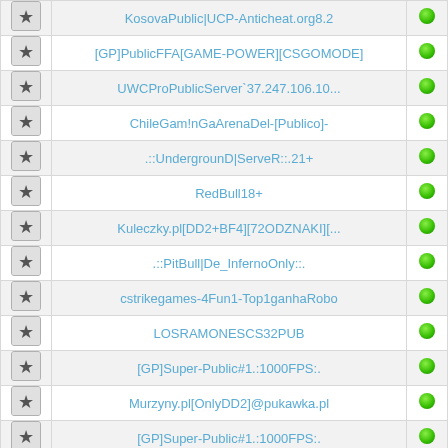| Icon | Server Name | Status |
| --- | --- | --- |
| [icon] | KosovaPublic|UCP-Anticheat.org8.2 | online |
| [icon] | [GP]PublicFFA[GAME-POWER][CSGOMODE] | online |
| [icon] | UWCProPublicServer`37.247.106.10... | online |
| [icon] | ChileGam!nGaArenaDel-[Publico]- | online |
| [icon] | .::UndergrounD|ServeR::.21+ | online |
| [icon] | RedBull18+ | online |
| [icon] | Kuleczky.pl[DD2+BF4][72ODZNAKI][... | online |
| [icon] | .::PitBull|De_InfernoOnly::. | online |
| [icon] | cstrikegames-4Fun1-Top1ganhaRobo | online |
| [icon] | LOSRAMONESCS32PUB | online |
| [icon] | [GP]Super-Public#1.:1000FPS:. | online |
| [icon] | Murzyny.pl[OnlyDD2]@pukawka.pl | online |
| [icon] | [GP]Super-Public#1.:1000FPS:. | online |
| [icon] | [CSGOMODE]Puchatek[4FuN]-Zapiszn... | online |